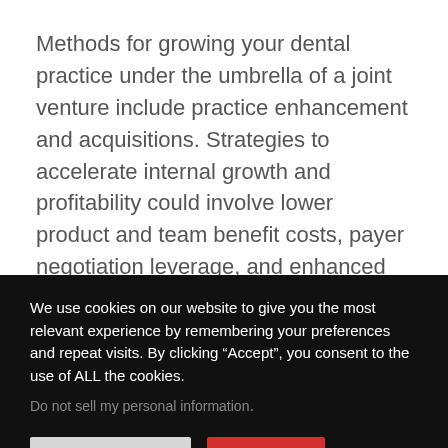Methods for growing your dental practice under the umbrella of a joint venture include practice enhancement and acquisitions. Strategies to accelerate internal growth and profitability could involve lower product and team benefit costs, payer negotiation leverage, and enhanced marketing expertise.
Investing in established practices can also be
We use cookies on our website to give you the most relevant experience by remembering your preferences and repeat visits. By clicking “Accept”, you consent to the use of ALL the cookies.
Do not sell my personal information.